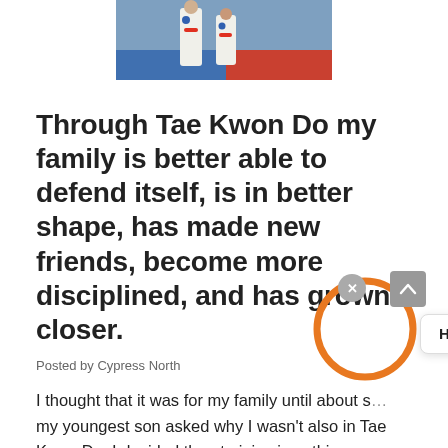[Figure (photo): Two people in white taekwondo uniforms (doboks) with red belts, standing together in a gym setting with blue and red floor mats visible in the background.]
Through Tae Kwon Do my family is better able to defend itself, is in better shape, has made new friends, become more disciplined, and has grown closer.
Posted by Cypress North
I thought that it was for my family until about s... my youngest son asked why I wasn't also in Tae Kwon Do. I decided then to join since this was
[Figure (screenshot): UI overlay elements: a chat popup saying 'Hi there! Click here 👋', an X (close) button in grey, an up-arrow button in grey, and an orange circle drawn around the X button area.]